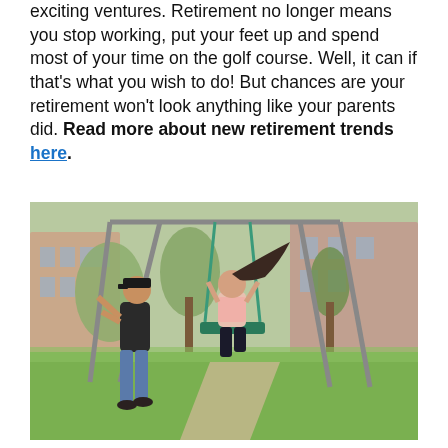exciting ventures. Retirement no longer means you stop working, put your feet up and spend most of your time on the golf course. Well, it can if that's what you wish to do! But chances are your retirement won't look anything like your parents did. Read more about new retirement trends here.
[Figure (photo): An older man wearing a black cap and dark shirt pushes a woman in a pink shirt on a swing set in a park. The woman's hair is flying in the air. They are both laughing and appear to be enjoying themselves. The background shows green grass, trees, and apartment buildings.]